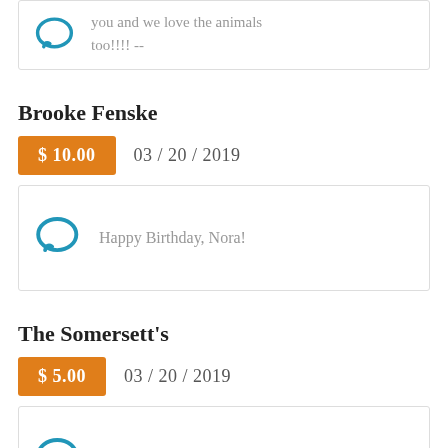you and we love the animals too!!!! --
Brooke Fenske
$ 10.00   03 / 20 / 2019
Happy Birthday, Nora!
The Somersett's
$ 5.00   03 / 20 / 2019
Happy Birthday!